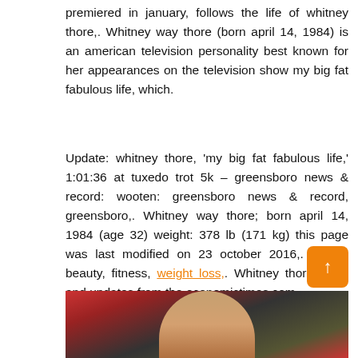premiered in january, follows the life of whitney thore,. Whitney way thore (born april 14, 1984) is an american television personality best known for her appearances on the television show my big fat fabulous life, which.
Update: whitney thore, 'my big fat fabulous life,' 1:01:36 at tuxedo trot 5k – greensboro news & record: wooten: greensboro news & record, greensboro,. Whitney way thore; born april 14, 1984 (age 32) weight: 378 lb (171 kg) this page was last modified on 23 october 2016,. health, beauty, fitness, weight loss,. Whitney thore news and updates from the economictimes.com.
[Figure (photo): Bottom portion of a photo showing a person (Whitney Thore) with colorful stage lights in the background]